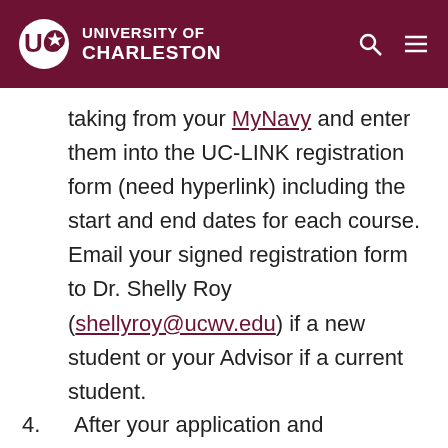University of Charleston
taking from your MyNavy and enter them into the UC-LINK registration form (need hyperlink) including the start and end dates for each course. Email your signed registration form to Dr. Shelly Roy (shellyroy@ucwv.edu) if a new student or your Advisor if a current student.
4. After your application and